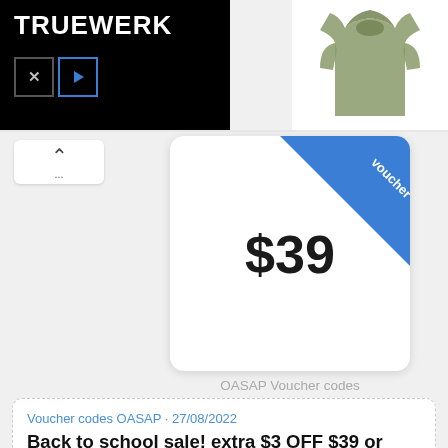[Figure (logo): TRUEWERK brand advertisement banner with logo text in white on black background, with X and play button icons]
[Figure (photo): Olive/khaki colored hoodie sweatshirt on white background]
[Figure (other): Voucher card showing $39 price with blue diagonal ribbon banner saying 'voucher code']
OASAP Voucher codes
Voucher codes OASAP · 27/08/2022
Back to school sale! extra $3 OFF $39 or more for all jumpers with code !
Back to school sale! extra $3 OFF $39 or more for all jumpers with code jump3!
SHOW CODE   MP3
Share
27 times used